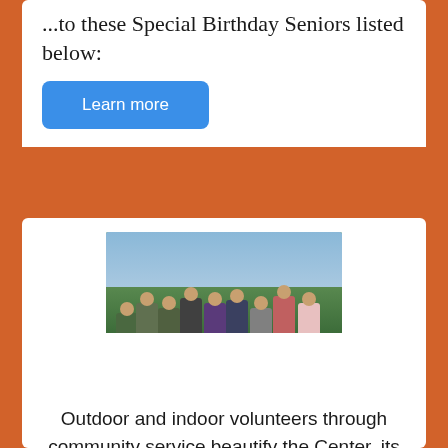...to these Special Birthday Seniors listed below:
Learn more
[Figure (photo): Group of young volunteers standing outdoors on a path, holding garden tools, with greenery and fields in the background.]
VOLUNTEER at WSCC!
Outdoor and indoor volunteers through community service beautify the Center, its grounds and its Healing Garden. Other service opportunities support senior events like